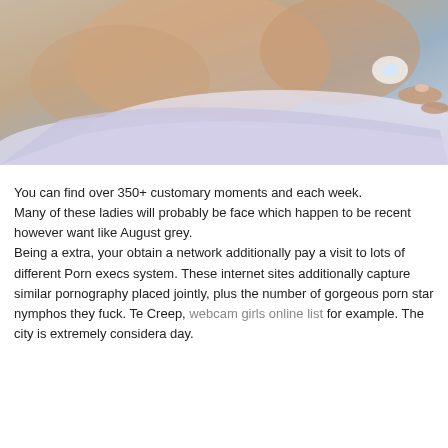[Figure (photo): Cropped photo showing a person in a bathtub with foam/bubbles, close-up of hands and legs, lavender/blue tones.]
You can find over 350+ customary moments and each week.
Many of these ladies will probably be face which happen to be recent however want like August grey.
Being a extra, your obtain a network additionally pay a visit to lots of different Porn execs system. These internet sites additionally capture similar pornography placed jointly, plus the number of gorgeous porn star nymphos they fuck. Creep, webcam girls online list for example. The city is extremely considerably day.